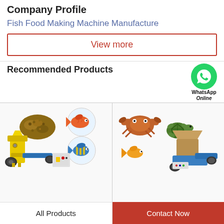Company Profile
Fish Food Making Machine Manufacture
View more
Recommended Products
[Figure (photo): Fish food making machine with fish pellets and tropical fish illustrations on left side]
[Figure (photo): WhatsApp Online icon with green phone bubble, crab and turtle illustrations, and fish food making machine on right side]
All Products
Contact Now